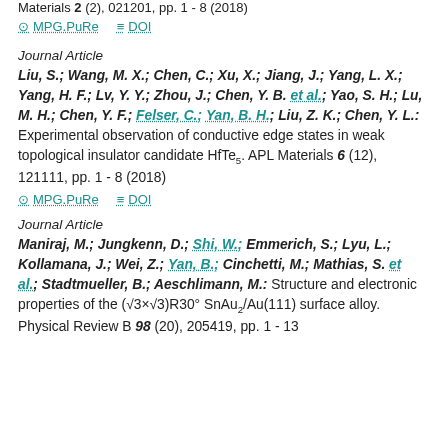Materials 2 (2), 021201, pp. 1 - 8 (2018)
MPG.PuRe   DOI
Journal Article
Liu, S.; Wang, M. X.; Chen, C.; Xu, X.; Jiang, J.; Yang, L. X.; Yang, H. F.; Lv, Y. Y.; Zhou, J.; Chen, Y. B. et al.; Yao, S. H.; Lu, M. H.; Chen, Y. F.; Felser, C.; Yan, B. H.; Liu, Z. K.; Chen, Y. L.: Experimental observation of conductive edge states in weak topological insulator candidate HfTe5. APL Materials 6 (12), 121111, pp. 1 - 8 (2018)
MPG.PuRe   DOI
Journal Article
Maniraj, M.; Jungkenn, D.; Shi, W.; Emmerich, S.; Lyu, L.; Kollamana, J.; Wei, Z.; Yan, B.; Cinchetti, M.; Mathias, S. et al.; Stadtmueller, B.; Aeschlimann, M.: Structure and electronic properties of the (√3×√3)R30° SnAu2/Au(111) surface alloy. Physical Review B 98 (20), 205419, pp. 1 - 13